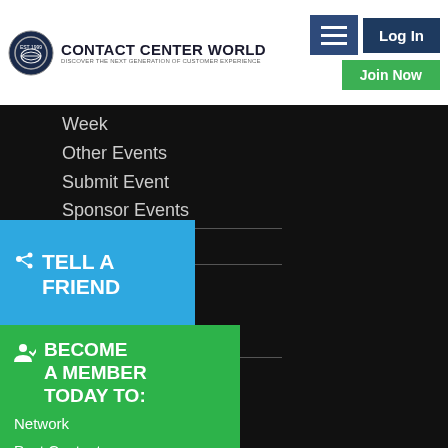[Figure (logo): Contact Center World logo with circular emblem and text 'Contact Center World - Discover The Next Generation Of Customer Experience']
Log In
Join Now
Week
Other Events
Submit Event
Sponsor Events
op
w
Categories
Past Winners
onsor
am
ampion
ngagement
day
TELL A FRIEND
BECOME A MEMBER TODAY TO:
Network
Post Content
Enter Awards
+ Much More